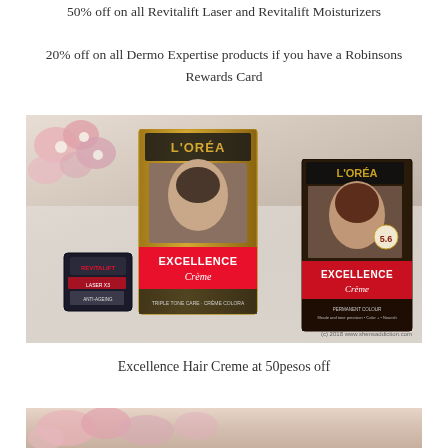50% off on all Revitalift Laser and Revitalift Moisturizers
20% off on all Dermo Expertise products if you have a Robinsons Rewards Card
[Figure (photo): L'Oreal Paris products including two Excellence Creme hair color boxes and a Revitalift serum, arranged on a light surface with pink flowers in the background. Watermark: (c) 2018 www.shensaddiction.com]
Excellence Hair Creme at 50pesos off
[Figure (photo): Partial view of pink flowers at bottom of page]